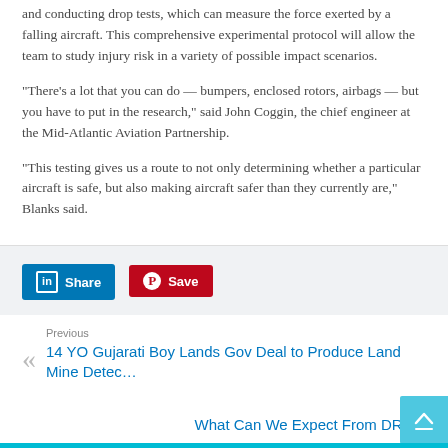and conducting drop tests, which can measure the force exerted by a falling aircraft. This comprehensive experimental protocol will allow the team to study injury risk in a variety of possible impact scenarios.
“There’s a lot that you can do — bumpers, enclosed rotors, airbags — but you have to put in the research,” said John Coggin, the chief engineer at the Mid-Atlantic Aviation Partnership.
“This testing gives us a route to not only determining whether a particular aircraft is safe, but also making aircraft safer than they currently are,” Blanks said.
[Figure (other): Social sharing buttons: LinkedIn Share button (blue) and Pinterest Save button (red)]
Previous
14 YO Gujarati Boy Lands Gov Deal to Produce Land Mine Detec...
Next
What Can We Expect From DRL...